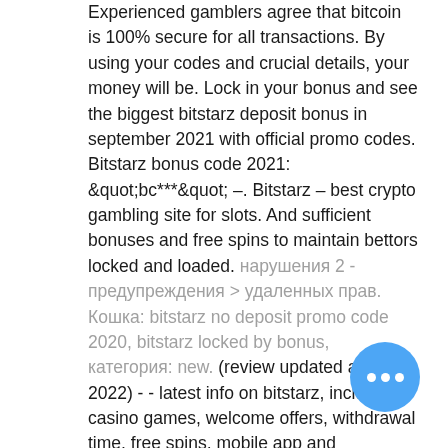Experienced gamblers agree that bitcoin is 100% secure for all transactions. By using your codes and crucial details, your money will be. Lock in your bonus and see the biggest bitstarz deposit bonus in september 2021 with official promo codes. Bitstarz bonus code 2021: "bc***" –. Bitstarz – best crypto gambling site for slots. And sufficient bonuses and free spins to maintain bettors locked and loaded. [cyrillic] 2 - [cyrillic] &gt; [cyrillic] [cyrillic]. [cyrillic]: bitstarz no deposit promo code 2020, bitstarz locked by bonus, [cyrillic]: new. (review updated april, 2022) -  - latest info on bitstarz, including casino games, welcome offers, withdrawal time, free spins, mobile app and payments. Bitstarz casino bonus is available to players from all around the world. You get the chance to unlock subsequent bonuses that have been made available. Bitstarz locked by bonus. Поэтому bitstarz casino фриспины раздает уже на